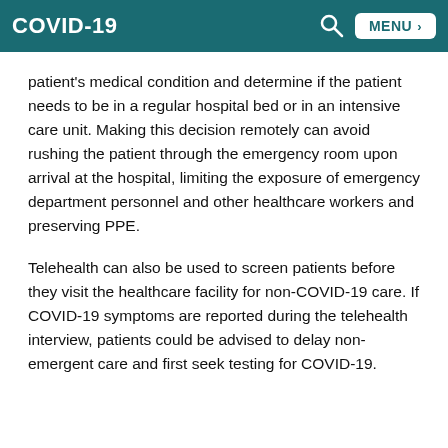COVID-19
patient's medical condition and determine if the patient needs to be in a regular hospital bed or in an intensive care unit. Making this decision remotely can avoid rushing the patient through the emergency room upon arrival at the hospital, limiting the exposure of emergency department personnel and other healthcare workers and preserving PPE.
Telehealth can also be used to screen patients before they visit the healthcare facility for non-COVID-19 care. If COVID-19 symptoms are reported during the telehealth interview, patients could be advised to delay non-emergent care and first seek testing for COVID-19.